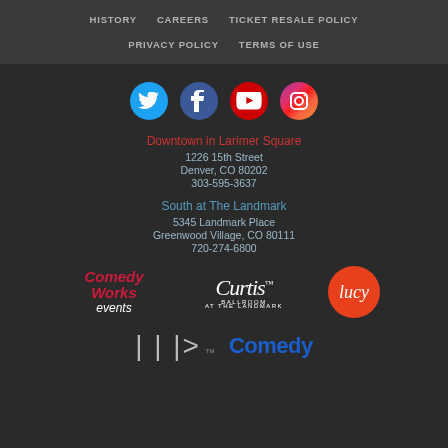HISTORY | CAREERS | TICKET RESALE POLICY | PRIVACY POLICY | TERMS OF USE
[Figure (infographic): Social media icons: Twitter (blue circle), Facebook (dark blue circle), YouTube (red circle), Instagram (gradient circle)]
Downtown in Larimer Square
1226 15th Street
Denver, CO 80202
303-595-3637
South at The Landmark
5345 Landmark Place
Greenwood Village, CO 80111
720-274-6800
[Figure (logo): Comedy Works Events logo, Curtis Ballroom at The Landmark logo, Lucy logo (orange circle)]
[Figure (logo): HAP logo and Comedy (blue text) partial logos at bottom]